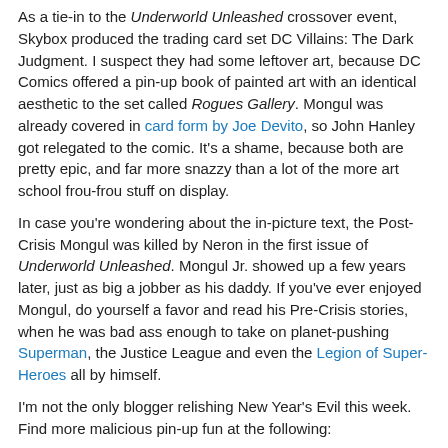As a tie-in to the Underworld Unleashed crossover event, Skybox produced the trading card set DC Villains: The Dark Judgment. I suspect they had some leftover art, because DC Comics offered a pin-up book of painted art with an identical aesthetic to the set called Rogues Gallery. Mongul was already covered in card form by Joe Devito, so John Hanley got relegated to the comic. It's a shame, because both are pretty epic, and far more snazzy than a lot of the more art school frou-frou stuff on display.
In case you're wondering about the in-picture text, the Post-Crisis Mongul was killed by Neron in the first issue of Underworld Unleashed. Mongul Jr. showed up a few years later, just as big a jobber as his daddy. If you've ever enjoyed Mongul, do yourself a favor and read his Pre-Crisis stories, when he was bad ass enough to take on planet-pushing Superman, the Justice League and even the Legion of Super-Heroes all by himself.
I'm not the only blogger relishing New Year's Evil this week. Find more malicious pin-up fun at the following:
Cheetah by Cliff Nielsen @ Diana Prince: